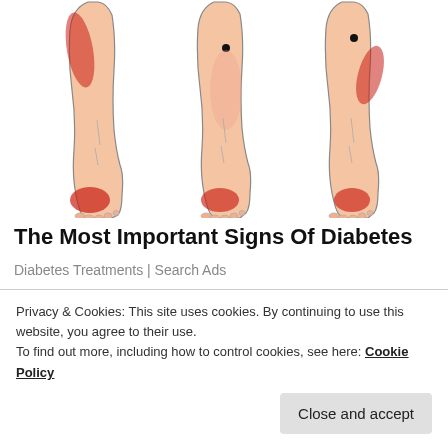[Figure (illustration): Three illustrated lower legs and feet showing red highlighted areas indicating pain or inflammation points associated with diabetes symptoms. Left leg shows red on outer calf and heel area. Middle leg shows a dot on mid-calf and red on the ball of the foot. Right leg shows a dot and red on upper calf area and heel.]
The Most Important Signs Of Diabetes
Diabetes Treatments | Search Ads
Want others to know about this article? Here are some options:
Facebook   Twitter   LinkedIn   Email   Print
Privacy & Cookies: This site uses cookies. By continuing to use this website, you agree to their use.
To find out more, including how to control cookies, see here: Cookie Policy
Close and accept